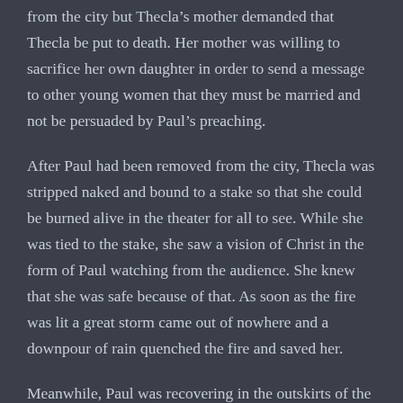from the city but Thecla's mother demanded that Thecla be put to death. Her mother was willing to sacrifice her own daughter in order to send a message to other young women that they must be married and not be persuaded by Paul's preaching.
After Paul had been removed from the city, Thecla was stripped naked and bound to a stake so that she could be burned alive in the theater for all to see. While she was tied to the stake, she saw a vision of Christ in the form of Paul watching from the audience. She knew that she was safe because of that. As soon as the fire was lit a great storm came out of nowhere and a downpour of rain quenched the fire and saved her.
Meanwhile, Paul was recovering in the outskirts of the